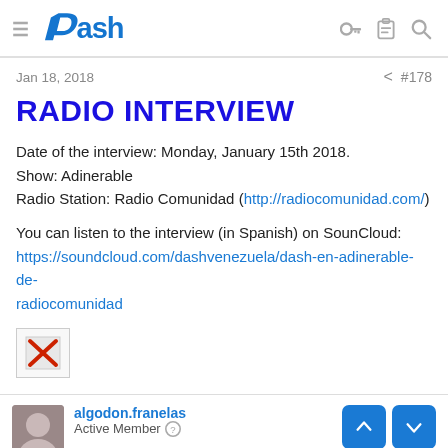Dash logo header with hamburger menu and icons
Jan 18, 2018  < #178
RADIO INTERVIEW
Date of the interview: Monday, January 15th 2018.
Show: Adinerable
Radio Station: Radio Comunidad (http://radiocomunidad.com/)
You can listen to the interview (in Spanish) on SounCloud:
https://soundcloud.com/dashvenezuela/dash-en-adinerable-de-radiocomunidad
[Figure (other): Broken image placeholder with red X]
algodon.franelas
Active Member